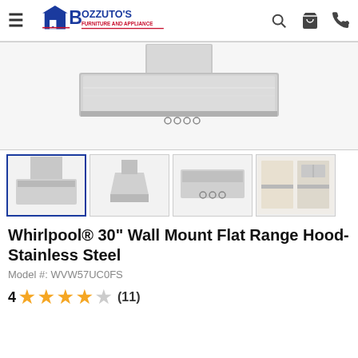[Figure (logo): Bozzuto's Furniture and Appliance logo with navigation icons (hamburger menu, search, cart, phone)]
[Figure (photo): Main product photo: Whirlpool 30 inch wall mount flat range hood in stainless steel, front/side view on white background]
[Figure (photo): Thumbnail 1 (active/selected): Range hood front view with chimney]
[Figure (photo): Thumbnail 2: Range hood angled/side view]
[Figure (photo): Thumbnail 3: Range hood bottom/underside view showing controls]
[Figure (photo): Thumbnail 4: Kitchen scene showing range hood installed]
Whirlpool® 30" Wall Mount Flat Range Hood-Stainless Steel
Model #: WVW57UC0FS
4 ★★★★☆ (11)